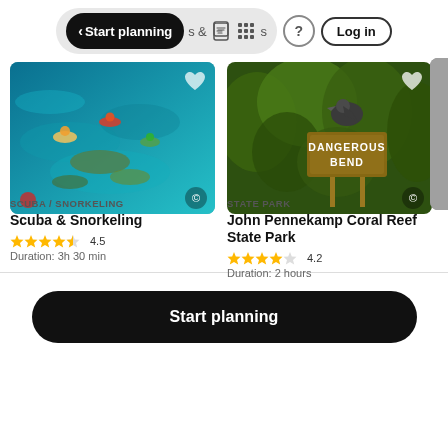[Figure (screenshot): Navigation bar with 'Start planning' black pill button, activities icons, question mark icon, and Log in button]
[Figure (photo): Aerial view of snorkelers in turquoise water over coral reef]
SCUBA / SNORKELING
Scuba & Snorkeling
4.5
Duration: 3h 30 min
[Figure (photo): Pelican bird perched near a sign reading 'DANGEROUS BEND' in mangroves]
STATE PARK
John Pennekamp Coral Reef State Park
4.2
Duration: 2 hours
Start planning